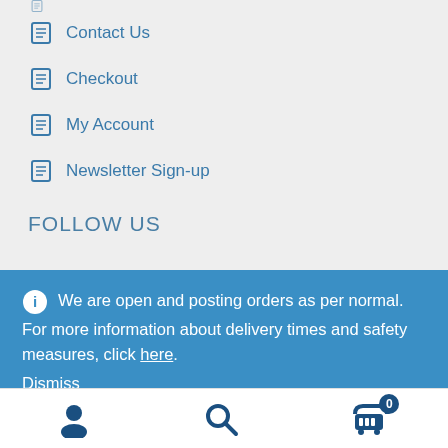Contact Us
Checkout
My Account
Newsletter Sign-up
FOLLOW US
We are open and posting orders as per normal. For more information about delivery times and safety measures, click here. Dismiss
Cookie Policy